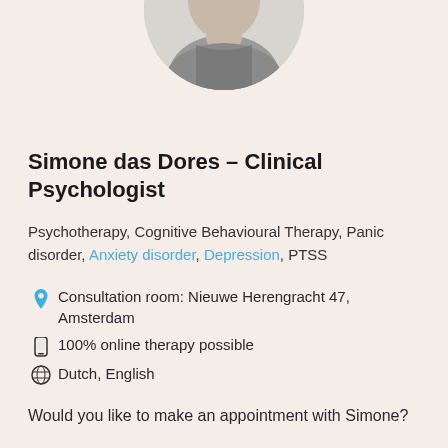[Figure (photo): Circular cropped photo of Simone das Dores, partially visible at top of page, showing a person in grey clothing against a light background with green plant visible]
Simone das Dores – Clinical Psychologist
Psychotherapy, Cognitive Behavioural Therapy, Panic disorder, Anxiety disorder, Depression, PTSS
Consultation room: Nieuwe Herengracht 47, Amsterdam
100% online therapy possible
Dutch, English
Would you like to make an appointment with Simone?